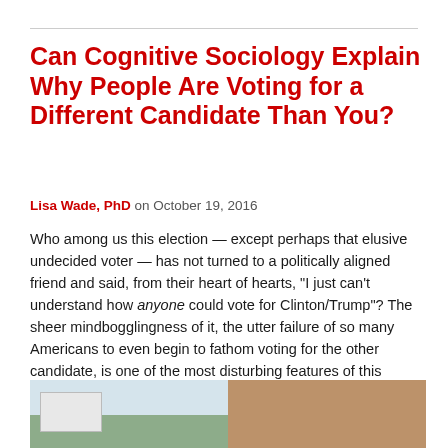Can Cognitive Sociology Explain Why People Are Voting for a Different Candidate Than You?
Lisa Wade, PhD on October 19, 2016
Who among us this election — except perhaps that elusive undecided voter — has not turned to a politically aligned friend and said, from their heart of hearts, "I just can't understand how anyone could vote for Clinton/Trump"? The sheer mindbogglingness of it, the utter failure of so many Americans to even begin to fathom voting for the other candidate, is one of the most disturbing features of this election. We all seem to be asking: What could the other side be thinking!?
[Figure (photo): Two photos side by side: left shows a person holding a blank sign outdoors with trees visible; right shows two people wearing hats and sunglasses, one with green sunglasses.]